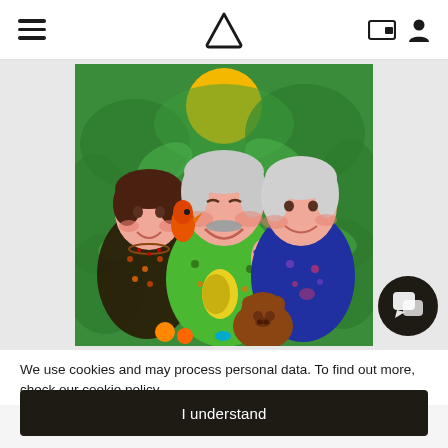Navigation bar with hamburger menu, triangle logo, wallet icon, and person icon
[Figure (illustration): Colorful folk-art style painting of three smiling figures (two adults and a child) in tropical patterned shirts with a large yellow sun, green foliage, a parrot, and a small brown bear/dog, set against a vibrant green background.]
We use cookies and may process personal data. To find out more, check our cookie policy.
I understand